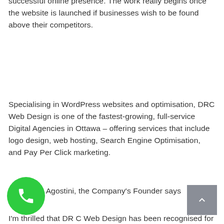successful online presence. The work really begins once the website is launched if businesses wish to be found above their competitors.
Specialising in WordPress websites and optimisation, DRC Web Design is one of the fastest-growing, full-service Digital Agencies in Ottawa – offering services that include logo design, web hosting, Search Engine Optimisation, and Pay Per Click marketing.
Domenica Agostini, the Company's Founder says
I'm thrilled that DR C Web Design has been recognised for its work in Search Engine Optimisation and digital...
[Figure (other): Green circular phone call button in the bottom-left corner]
[Figure (other): Grey square scroll-to-top button with upward chevron in the bottom-right corner]